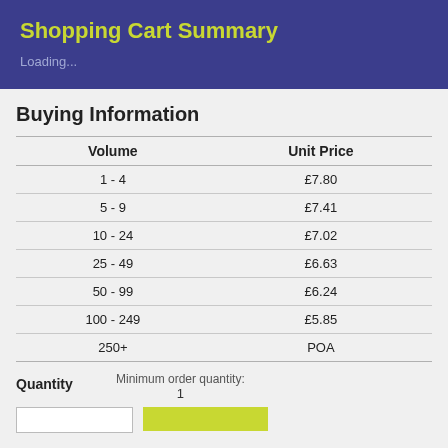Shopping Cart Summary
Loading...
Buying Information
| Volume | Unit Price |
| --- | --- |
| 1 - 4 | £7.80 |
| 5 - 9 | £7.41 |
| 10 - 24 | £7.02 |
| 25 - 49 | £6.63 |
| 50 - 99 | £6.24 |
| 100 - 249 | £5.85 |
| 250+ | POA |
Quantity    Minimum order quantity:
1